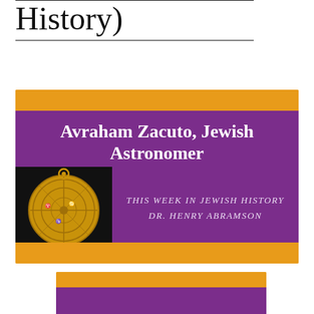History)
[Figure (illustration): Thumbnail image for a video titled 'Avraham Zacuto, Jewish Astronomer' from 'This Week in Jewish History' by Dr. Henry Abramson. Orange border surrounds a purple rectangle with white bold title text and a photo of a golden astrolabe on black background.]
[Figure (illustration): Partially visible second thumbnail card showing the same series branding with orange and purple colors and partial white text 'Avraham Zacuto, Jewish...']